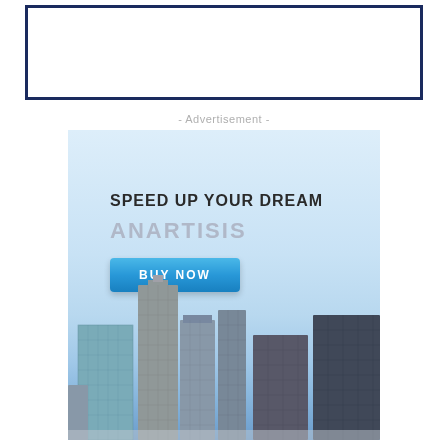[Figure (other): Empty white rectangular box with dark navy border]
- Advertisement -
[Figure (illustration): Advertisement banner with light blue sky background, city skyline at bottom, text 'SPEED UP YOUR DREAM', 'ANARTISIS', and a blue 'BUY NOW' button]